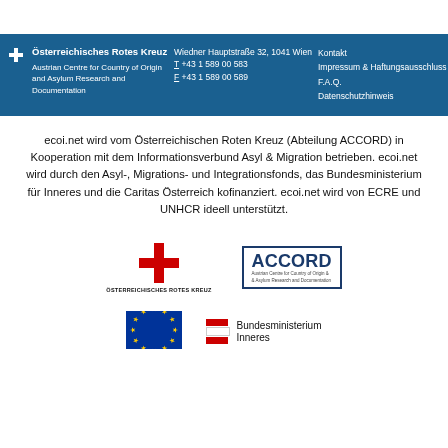[Figure (other): Blue header bar with Österreichisches Rotes Kreuz / ACCORD contact information in three columns on a teal/dark blue background]
ecoi.net wird vom Österreichischen Roten Kreuz (Abteilung ACCORD) in Kooperation mit dem Informationsverbund Asyl & Migration betrieben. ecoi.net wird durch den Asyl-, Migrations- und Integrationsfonds, das Bundesministerium für Inneres und die Caritas Österreich kofinanziert. ecoi.net wird von ECRE und UNHCR ideell unterstützt.
[Figure (logo): Österreichisches Rotes Kreuz logo: red cross with text ÖSTERREICHISCHES ROTES KREUZ below]
[Figure (logo): ACCORD logo: Austrian Centre for Country of Origin & Asylum Research and Documentation, bold ACCORD text in blue box]
[Figure (logo): EU flag: blue background with circle of yellow stars]
[Figure (logo): Bundesministerium Inneres logo with Austrian flag stripes]